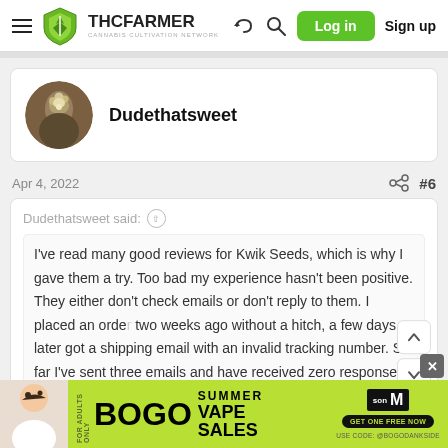THCFarmer - Cannabis Cultivation Network | Log in | Sign up
Dudethatsweet
Apr 4, 2022  #6
Dudethatsweet said:
I've read many good reviews for Kwik Seeds, which is why I gave them a try. Too bad my experience hasn't been positive. They either don't check emails or don't reply to them. I placed an order two weeks ago without a hitch, a few days later got a shipping email with an invalid tracking number. So far I've sent three emails and have received zero response. I'm not a happy
[Figure (advertisement): BOGO Summer Vape Sales advertisement banner with person on left side and green background]